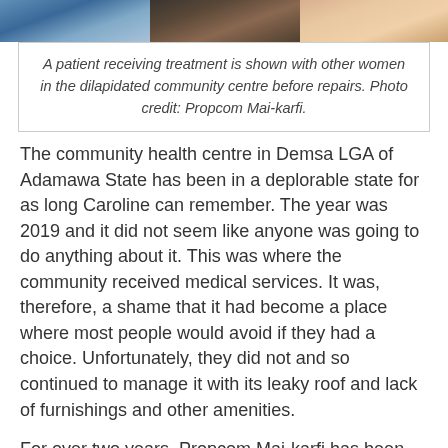[Figure (photo): A photo strip showing a patient receiving treatment with other women in a dilapidated community centre, split across three image segments.]
A patient receiving treatment is shown with other women in the dilapidated community centre before repairs. Photo credit: Propcom Mai-karfi.
The community health centre in Demsa LGA of Adamawa State has been in a deplorable state for as long Caroline can remember. The year was 2019 and it did not seem like anyone was going to do anything about it. This was where the community received medical services. It was, therefore, a shame that it had become a place where most people would avoid if they had a choice. Unfortunately, they did not and so continued to manage it with its leaky roof and lack of furnishings and other amenities.
For over two years, Propcom Mai-karfi has been training women on LoCIP. For Caroline and the other women, putting to practise knowledge from the training yielded and continues to yield results: their flock sizes increased